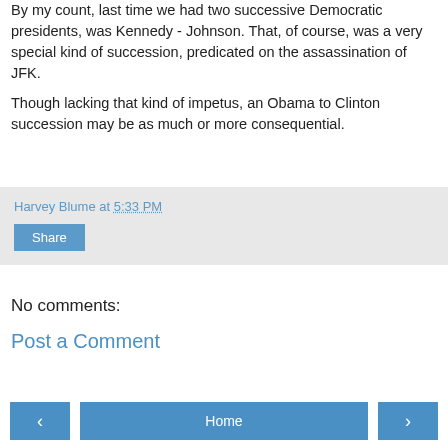By my count, last time we had two successive Democratic presidents, was Kennedy - Johnson. That, of course, was a very special kind of succession, predicated on the assassination of JFK.
Though lacking that kind of impetus, an Obama to Clinton succession may be as much or more consequential.
Harvey Blume at 5:33 PM
Share
No comments:
Post a Comment
< Home >